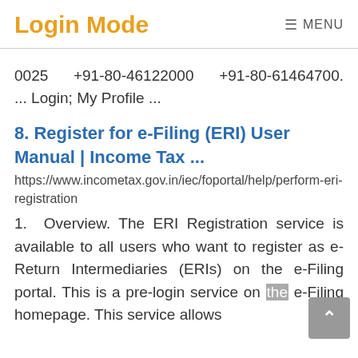Login Mode
0025      +91-80-46122000      +91-80-61464700. ... Login; My Profile ...
8. Register for e-Filing (ERI) User Manual | Income Tax ...
https://www.incometax.gov.in/iec/foportal/help/perform-eri-registration
1.  Overview. The ERI Registration service is available to all users who want to register as e-Return Intermediaries (ERIs) on the e-Filing portal. This is a pre-login service on the e-Filing homepage. This service allows